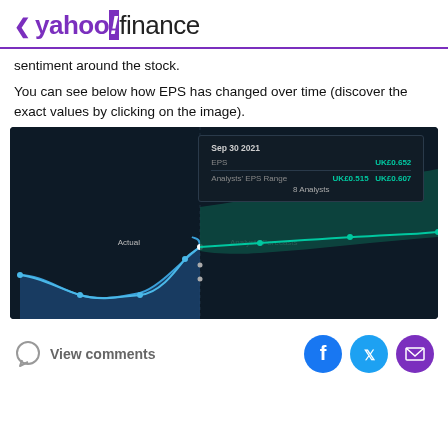< yahoo!finance
sentiment around the stock.
You can see below how EPS has changed over time (discover the exact values by clicking on the image).
[Figure (continuous-plot): Yahoo Finance EPS chart showing actual EPS and analyst forecast range over time. Tooltip shows Sep 30 2021: EPS UK£0.652, Analysts' EPS Range UK£0.515 - UK£0.607, 8 Analysts. Y-axis shows UK£0.8 at top and UK£0.2 at bottom. Chart has blue actual line dipping then rising, and teal forecast area continuing upward.]
View comments